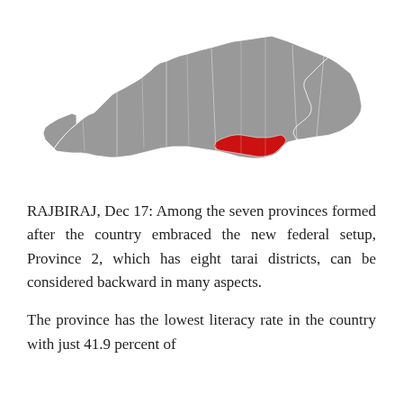[Figure (map): Map of Nepal with Province 2 (eight tarai districts in the south-central region) highlighted in red, rest of the country shown in grey.]
RAJBIRAJ, Dec 17: Among the seven provinces formed after the country embraced the new federal setup, Province 2, which has eight tarai districts, can be considered backward in many aspects.
The province has the lowest literacy rate in the country with just 41.9 percent of